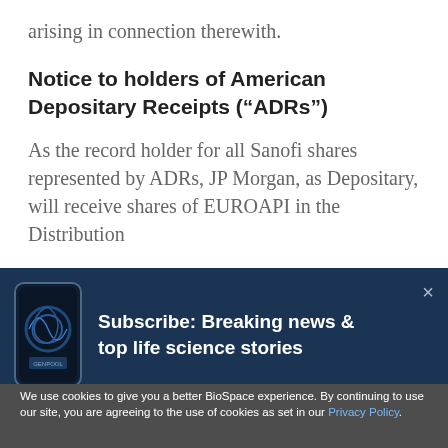arising in connection therewith.
Notice to holders of American Depositary Receipts (“ADRs”)
As the record holder for all Sanofi shares represented by ADRs, JP Morgan, as Depositary, will receive shares of EUROAPI in the Distribution
[Figure (screenshot): Subscribe banner overlay with dark navy background, showing a phone graphic on the left and bold white text reading 'Subscribe: Breaking news & top life science stories' on the right, with an X close button in the top right corner.]
We use cookies to give you a better BioSpace experience. By continuing to use our site, you are agreeing to the use of cookies as set in our Privacy Policy.
Accept